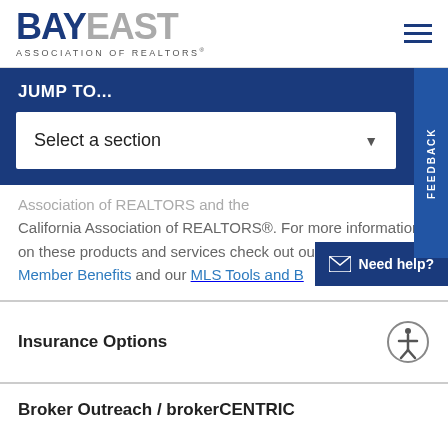[Figure (logo): Bay East Association of Realtors logo with blue BAY text and gray EAST text]
JUMP TO...
Select a section
California Association of REALTORS®. For more information on these products and services check out our Bay East Member Benefits and our MLS Tools and B...
Insurance Options
Broker Outreach / brokerCENTRIC